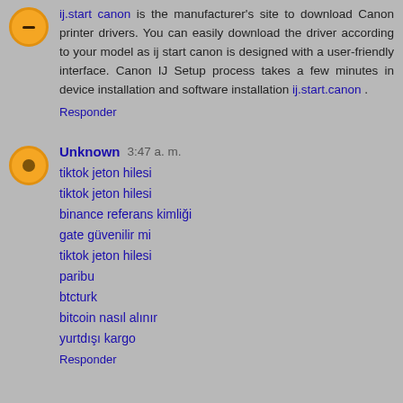ij.start canon is the manufacturer's site to download Canon printer drivers. You can easily download the driver according to your model as ij start canon is designed with a user-friendly interface. Canon IJ Setup process takes a few minutes in device installation and software installation ij.start.canon .
Responder
Unknown 3:47 a. m.
tiktok jeton hilesi
tiktok jeton hilesi
binance referans kimliği
gate güvenilir mi
tiktok jeton hilesi
paribu
btcturk
bitcoin nasıl alınır
yurtdışı kargo
Responder